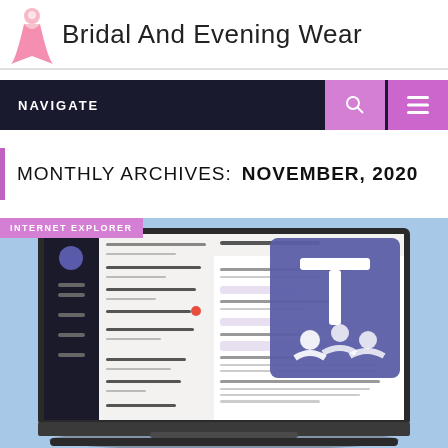Bridal And Evening Wear
NAVIGATE
MONTHLY ARCHIVES: NOVEMBER, 2020
INTERNET EXPLORER
[Figure (screenshot): Microsoft Teams desktop application shown on a laptop screen, with the Microsoft Teams logo (purple background with white T) overlaid on the right side.]